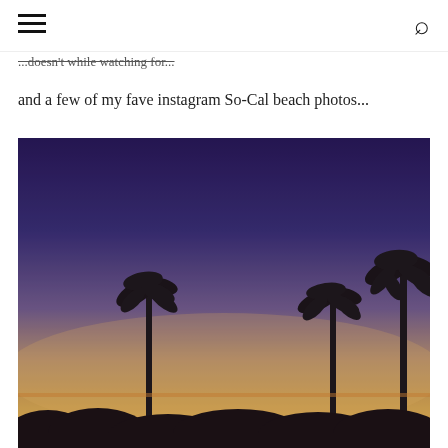[hamburger menu] [search icon]
...doesn't while watching for...
and a few of my fave instagram So-Cal beach photos...
[Figure (photo): Instagram-filtered sunset photo showing silhouettes of three palm trees against a gradient sky with deep blue at top transitioning to warm yellow-orange near the horizon, with dark shrub/tree silhouettes at bottom]